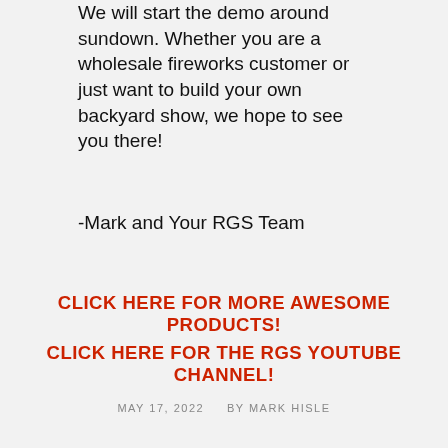We will start the demo around sundown. Whether you are a wholesale fireworks customer or just want to build your own backyard show, we hope to see you there!
-Mark and Your RGS Team
CLICK HERE FOR MORE AWESOME PRODUCTS!
CLICK HERE FOR THE RGS YOUTUBE CHANNEL!
MAY 17, 2022    BY MARK HISLE